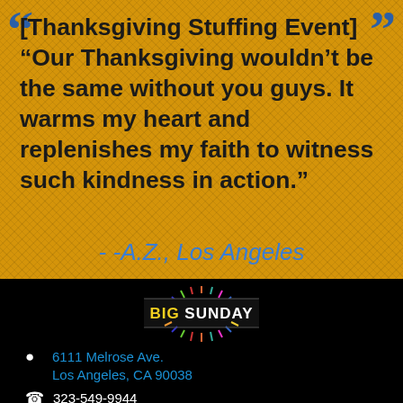[Thanksgiving Stuffing Event] “Our Thanksgiving wouldn’t be the same without you guys. It warms my heart and replenishes my faith to witness such kindness in action.”
- -A.Z., Los Angeles
[Figure (logo): Big Sunday logo with radiating lines above and below the text on a dark background]
6111 Melrose Ave. Los Angeles, CA 90038
323-549-9944
323-549-3461